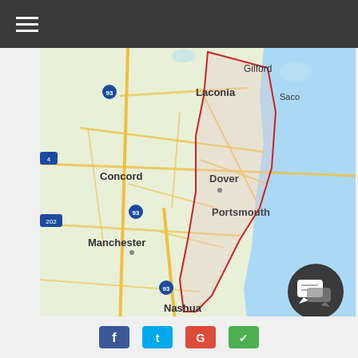Navigation menu bar
[Figure (map): Google map showing New Hampshire coastal region with cities including Gilford, Laconia, Concord, Manchester, Nashua, Dover, Portsmouth, and Saco. A red polygon outlines a service area covering the eastern NH/seacoast region.]
LOCATION
336 Portland St
Rochester, NH 03867
(603) 948-2039
[Figure (other): Dark circular chat/messaging icon button in bottom right]
[Figure (other): Row of social media icon buttons at the bottom of the page]